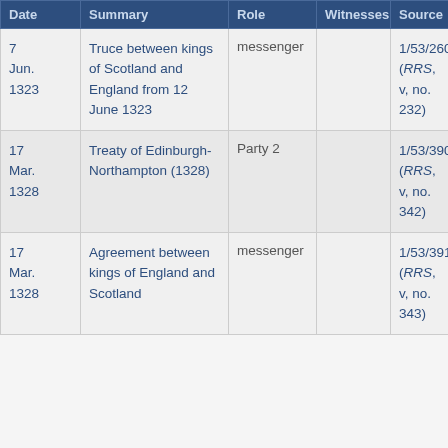| Date | Summary | Role | Witnesses | Source |
| --- | --- | --- | --- | --- |
| 7 Jun. 1323 | Truce between kings of Scotland and England from 12 June 1323 | messenger |  | 1/53/260 (RRS, v, no. 232) |
| 17 Mar. 1328 | Treaty of Edinburgh-Northampton (1328) | Party 2 |  | 1/53/390 (RRS, v, no. 342) |
| 17 Mar. 1328 | Agreement between kings of England and Scotland | messenger |  | 1/53/391 (RRS, v, no. 343) |